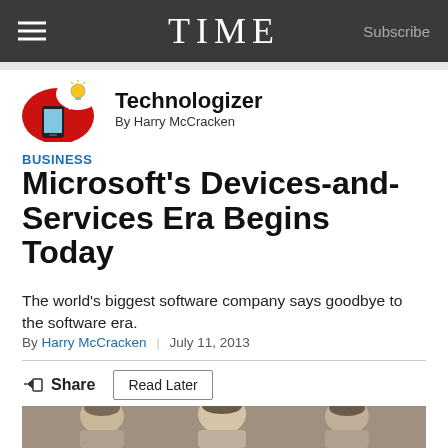TIME  Subscribe
[Figure (logo): Technologizer logo with lightbulb speech bubble and smartphone on red circle background]
Technologizer
By Harry McCracken
BUSINESS
Microsoft's Devices-and-Services Era Begins Today
The world's biggest software company says goodbye to the software era.
By Harry McCracken | July 11, 2013
Share  Read Later
[Figure (photo): Three bearded men photographed together, black and white style]